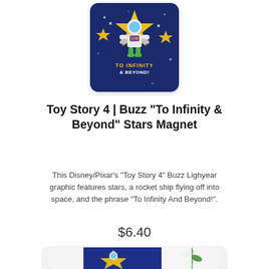[Figure (photo): Toy Story 4 Buzz Lightyear 'To Infinity & Beyond' Stars Magnet product image on dark navy blue rounded rectangle card with stars and rocket graphic]
Toy Story 4 | Buzz "To Infinity & Beyond" Stars Magnet
This Disney/Pixar's "Toy Story 4" Buzz Lighyear graphic features stars, a rocket ship flying off into space, and the phrase "To Infinity And Beyond!".
$6.40
[Figure (photo): Partial view of a second product image showing Buzz Lightyear on a blue background, framed on a white surface with a green plant visible to the right]